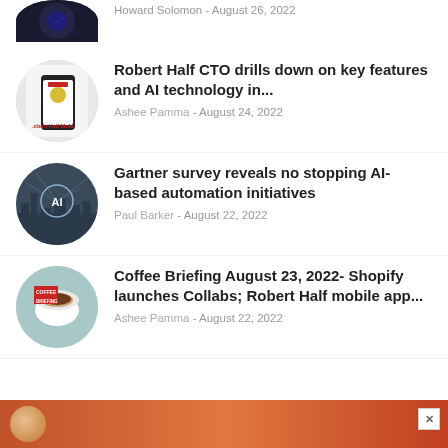[Figure (photo): Circular thumbnail image of a dark tech/network themed photo, partially cropped at top]
Howard Solomon - August 26, 2022
[Figure (photo): Circular thumbnail showing Robert Half Mobile app on a smartphone]
Robert Half CTO drills down on key features and AI technology in...
Ashee Pamma - August 24, 2022
[Figure (photo): Circular thumbnail with AI text on a futuristic city/network background]
Gartner survey reveals no stopping AI-based automation initiatives
Paul Barker - August 22, 2022
[Figure (photo): Circular thumbnail showing a coffee cup with COFFEE BRIEFING text on teal background]
Coffee Briefing August 23, 2022- Shopify launches Collabs; Robert Half mobile app...
Ashee Pamma - August 22, 2022
[Figure (photo): Advertisement banner at the bottom with orange/brown gradient and a circular icon]